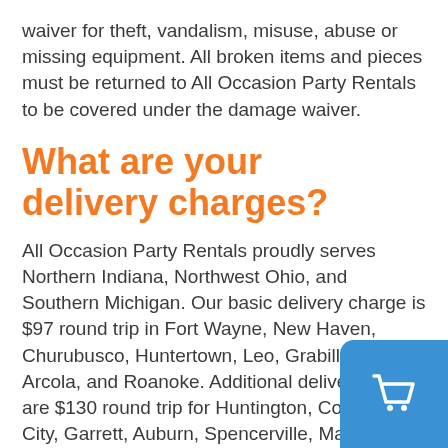waiver for theft, vandalism, misuse, abuse or missing equipment. All broken items and pieces must be returned to All Occasion Party Rentals to be covered under the damage waiver.
What are your delivery charges?
All Occasion Party Rentals proudly serves Northern Indiana, Northwest Ohio, and Southern Michigan. Our basic delivery charge is $97 round trip in Fort Wayne, New Haven, Churubusco, Huntertown, Leo, Grabill, Harlan, Arcola, and Roanoke. Additional delivery prices are $130 round trip for Huntington, Columbia City, Garrett, Auburn, Spencerville, Markle, Ossian, Decatur, and Hicksville, Oh... $200 for Bluffton, Warsaw, Lagrange, North Manchester, Lake, Wawasee, Angola, Lake